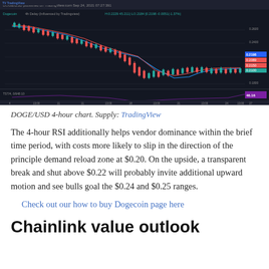[Figure (screenshot): DOGE/USD 4-hour candlestick chart from TradingView showing price action with moving averages and RSI indicator at the bottom. Chart shows a downtrend with candlesticks, blue and red moving average lines, and RSI oscillator panel.]
DOGE/USD 4-hour chart. Supply: TradingView
The 4-hour RSI additionally helps vendor dominance within the brief time period, with costs more likely to slip in the direction of the principle demand reload zone at $0.20. On the upside, a transparent break and shut above $0.22 will probably invite additional upward motion and see bulls goal the $0.24 and $0.25 ranges.
Check out our how to buy Dogecoin page here
Chainlink value outlook